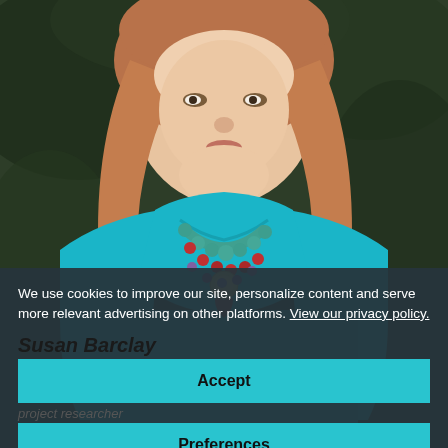[Figure (photo): Portrait photo of a woman with auburn/blonde hair wearing a teal/turquoise long-sleeve top and a multi-strand beaded necklace with turquoise, red, and mixed beads. Background is blurred dark green foliage.]
We use cookies to improve our site, personalize content and serve more relevant advertising on other platforms. View our privacy policy.
Susan Barclay
Accept
project researcher
Preferences